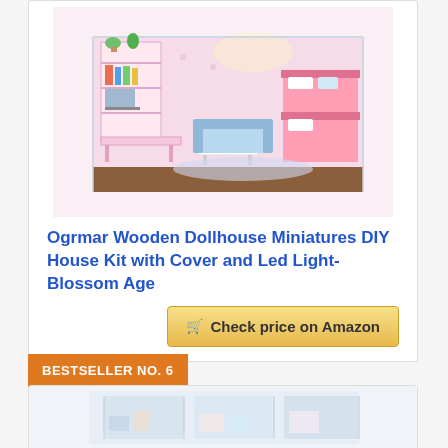[Figure (photo): Ogrmar wooden dollhouse miniature DIY house kit with pink bunk beds, desk, sofa, lamp, and accessories, enclosed in clear acrylic cover with LED lighting.]
Ogrmar Wooden Dollhouse Miniatures DIY House Kit with Cover and Led Light-Blossom Age
Check price on Amazon
BESTSELLER NO. 6
[Figure (photo): Miniature dollhouse kit showing a room with pastel blue and white furniture, partially visible.]